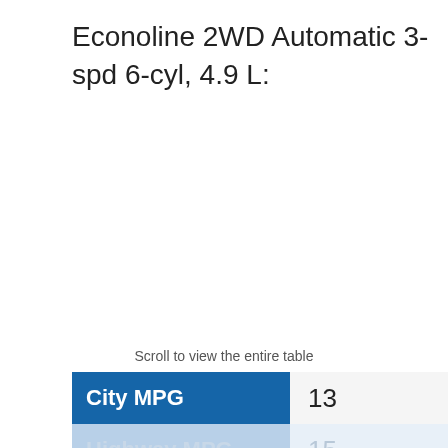Econoline 2WD Automatic 3-spd 6-cyl, 4.9 L:
Scroll to view the entire table
|  |  |
| --- | --- |
| City MPG | 13 |
| Highway MPG | 15 |